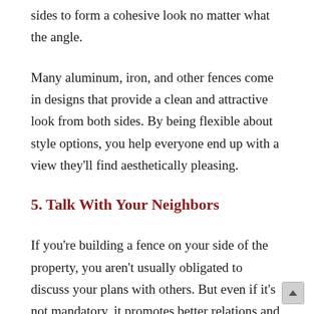sides to form a cohesive look no matter what the angle.
Many aluminum, iron, and other fences come in designs that provide a clean and attractive look from both sides. By being flexible about style options, you help everyone end up with a view they'll find aesthetically pleasing.
5. Talk With Your Neighbors
If you're building a fence on your side of the property, you aren't usually obligated to discuss your plans with others. But even if it's not mandatory, it promotes better relations and avoids unnecessary conflict. The best time to talk with neighbors about your fence choices — such as height, material, and style — is when you're still in the planning stages. Ask for their input and take their